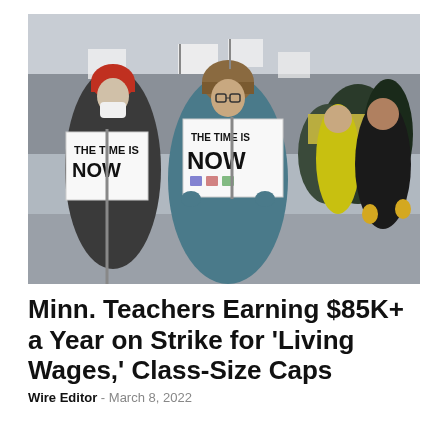[Figure (photo): Protesters marching in winter clothing holding signs that read 'THE TIME IS NOW' during a teachers strike. People are dressed in heavy coats, hats, and masks. Trees and more protesters are visible in the background.]
Minn. Teachers Earning $85K+ a Year on Strike for 'Living Wages,' Class-Size Caps
Wire Editor - March 8, 2022